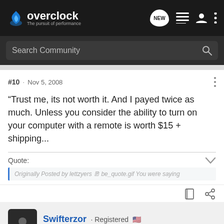overclock – The pursuit of performance
Search Community
#10 · Nov 5, 2008
Trust me, its not worth it. And I payed twice as much. Unless you consider the ability to turn on your computer with a remote is worth $15 + shipping...
Quote:
Originally Posted by lettzyers … be_quote.gif You were saying
Swifterzor · Registered 🇺🇸
Joined Jul 28, 2005 · 1,675 Posts